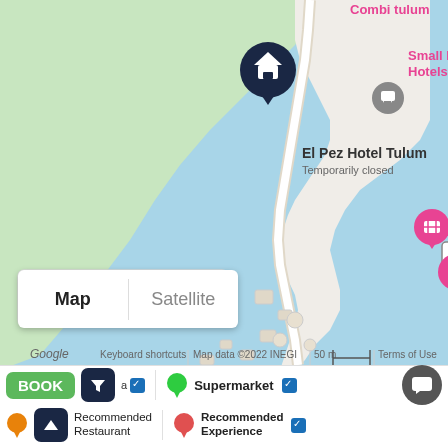[Figure (map): Google Maps screenshot showing El Pez Hotel Tulum (Temporarily closed) on a coastal strip near Tulum, Mexico. Map/Satellite toggle, zoom controls, Street View pegman, and map attribution visible. Labels include 'Combi tulum', 'Small Luxury Hotels of the World', 'El Pez Hotel Tulum Temporarily closed', route marker '15', Google branding, 'Keyboard shortcuts', 'Map data ©2022 INEGI', '50 m', 'Terms of Use'.]
Map | Satellite
BOOK
Supermarket
Recommended Restaurant
Recommended Experience